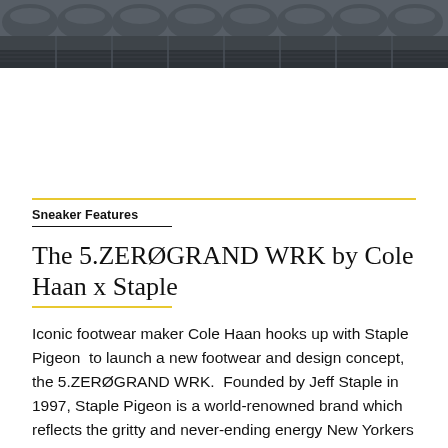[Figure (photo): A row of dark grey sneakers shot from the side, repeating across the full width image strip at the top of the page.]
Sneaker Features
The 5.ZERØGRAND WRK by Cole Haan x Staple
Iconic footwear maker Cole Haan hooks up with Staple Pigeon  to launch a new footwear and design concept, the 5.ZERØGRAND WRK.  Founded by Jeff Staple in 1997, Staple Pigeon is a world-renowned brand which reflects the gritty and never-ending energy New Yorkers (and all urban dwellers) possess. It not only exists as a representation of